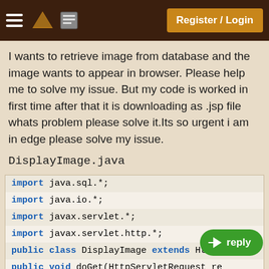Register / Login
I wants to retrieve image from database and the image wants to appear in browser. Please help me to solve my issue. But my code is worked in first time after that it is downloading as .jsp file whats problem please solve it.Its so urgent i am in edge please solve my issue.
DisplayImage.java
[Figure (screenshot): Java code snippet showing imports and class definition for DisplayImage servlet with JDBC connection setup]
reply